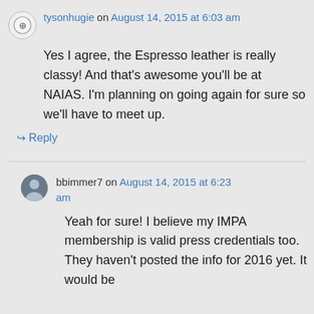tysonhugie on August 14, 2015 at 6:03 am
Yes I agree, the Espresso leather is really classy! And that’s awesome you’ll be at NAIAS. I’m planning on going again for sure so we’ll have to meet up.
↪ Reply
bbimmer7 on August 14, 2015 at 6:23 am
Yeah for sure! I believe my IMPA membership is valid press credentials too. They haven't posted the info for 2016 yet. It would be